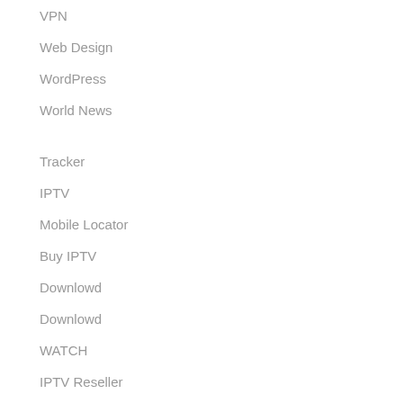VPN
Web Design
WordPress
World News
Tracker
IPTV
Mobile Locator
Buy IPTV
Downlowd
Downlowd
WATCH
IPTV Reseller
Mobile Tracker FREE
12 MONTHS
BUY IPTV 12 MONTHS
IPTV 12 MONTHS
buy iptv server
BUY IPTV